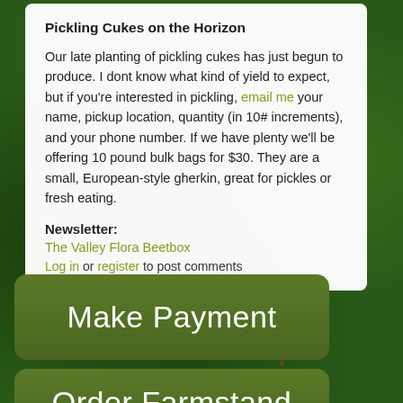Pickling Cukes on the Horizon
Our late planting of pickling cukes has just begun to produce. I dont know what kind of yield to expect, but if you're interested in pickling, email me your name, pickup location, quantity (in 10# increments), and your phone number. If we have plenty we'll be offering 10 pound bulk bags for $30. They are a small, European-style gherkin, great for pickles or fresh eating.
Newsletter:
The Valley Flora Beetbox
Log in or register to post comments
[Figure (other): Green button with white text reading 'Make Payment' on a dark green background with rounded corners, over a leafy vegetable background photo]
[Figure (other): Green button with white text reading 'Order Farmstand' on a dark green background with rounded corners, over a leafy vegetable background photo]